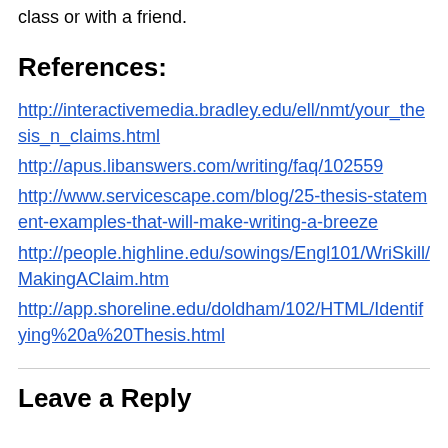class or with a friend.
References:
http://interactivemedia.bradley.edu/ell/nmt/your_thesis_n_claims.html
http://apus.libanswers.com/writing/faq/102559
http://www.servicescape.com/blog/25-thesis-statement-examples-that-will-make-writing-a-breeze
http://people.highline.edu/sowings/Engl101/WriSkill/MakingAClaim.htm
http://app.shoreline.edu/doldham/102/HTML/Identifying%20a%20Thesis.html
Leave a Reply